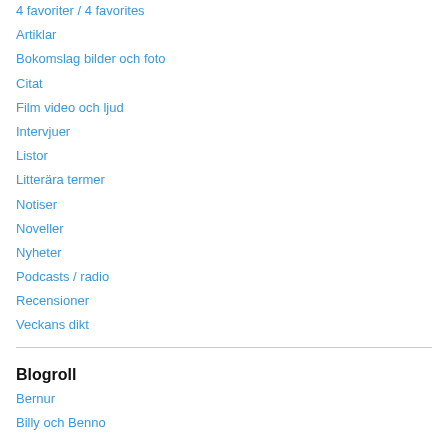4 favoriter / 4 favorites
Artiklar
Bokomslag bilder och foto
Citat
Film video och ljud
Intervjuer
Listor
Litterära termer
Notiser
Noveller
Nyheter
Podcasts / radio
Recensioner
Veckans dikt
Blogroll
Bernur
Billy och Benno